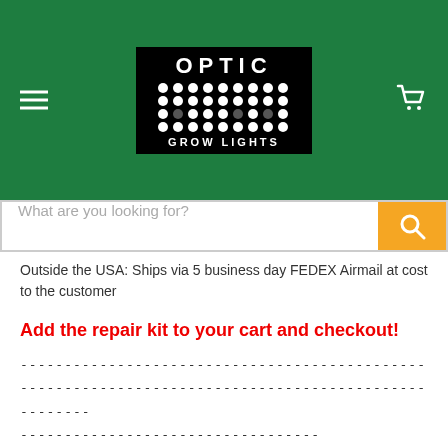[Figure (logo): Optic Grow Lights logo on green header bar with hamburger menu and cart icon]
What are you looking for?
Outside the USA: Ships via 5 business day FEDEX Airmail at cost to the customer
Add the repair kit to your cart and checkout!
----------------------------------------------------------------------------------------------------
----------------------------------
[Figure (infographic): USD currency selector badge with US flag icon]
More Information